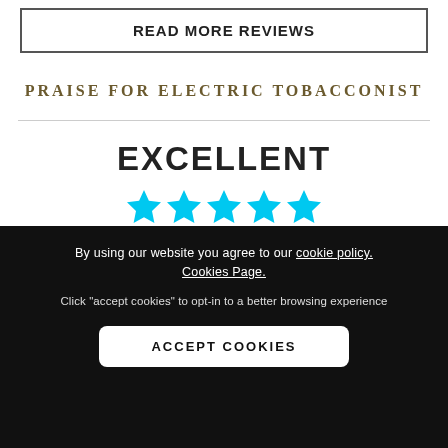READ MORE REVIEWS
PRAISE FOR ELECTRIC TOBACCONIST
EXCELLENT
[Figure (infographic): Five cyan/blue filled stars representing a 5-star rating]
4.93 Average   30084 Reviews
[Figure (logo): REVIEWS.io logo badge with star icon on grey rounded rectangle background]
By using our website you agree to our cookie policy. Cookies Page.
Click "accept cookies" to opt-in to a better browsing experience
ACCEPT COOKIES